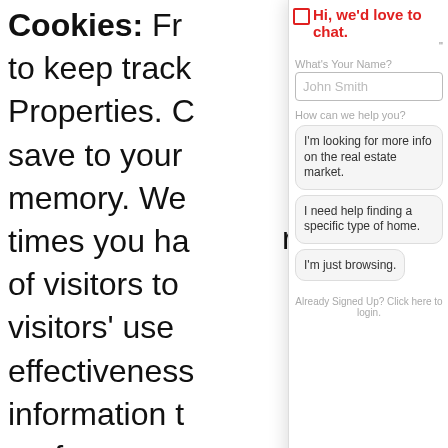Cookies: Fr… to keep track… Properties. C… save to your… memory. We… times you ha… r of visitors to… visitors' use… effectiveness… information t… preferences,… useful for yo… may use session cookies (cookies that are deleted when your browser session ends) to store y… User Account, elements of your user profile, to facilitate your movement around our websites
[Figure (screenshot): Chat widget overlay showing: header 'Hi, we'd love to chat!' with checkbox icon, input field labeled 'What's Your Name?' with placeholder 'John Smith', label 'How can we help you?' with three option buttons: 'I'm looking for more info on the real estate market.', 'I need help finding a specific type of home.', 'I'm just browsing.', and footer text 'Already Signed Up? Click here to login.' with a red chat bubble button at bottom right.]